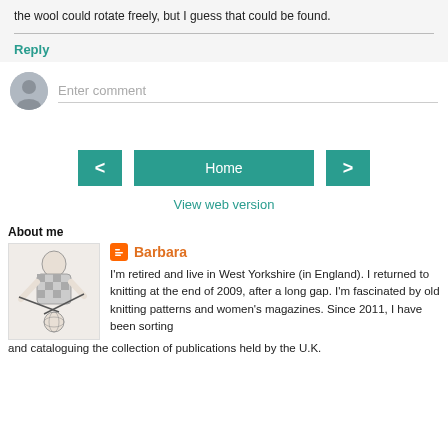the wool could rotate freely, but I guess that could be found.
Reply
Enter comment
Home
View web version
About me
Barbara
I'm retired and live in West Yorkshire (in England). I returned to knitting at the end of 2009, after a long gap. I'm fascinated by old knitting patterns and women's magazines. Since 2011, I have been sorting and cataloguing the collection of publications held by the U.K.